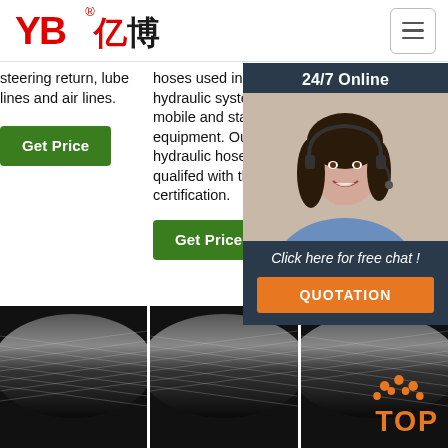YB亿博® logo and hamburger menu
steering return, lube lines and air lines.
Get Price
hoses used in hydraulic systems on mobile and stationary equipment. Our hydraulic hose is qualifed with the SAE certification.
Get Price
Reinforcement: two high tensile steel wire... Cover: ...and ...resi...rubl...
G...
24/7 Online
[Figure (photo): Customer service agent woman with headset, smiling]
Click here for free chat !
QUOTATION
[Figure (photo): Black hydraulic hose close-up, left]
[Figure (photo): Black hydraulic hose close-up, center]
[Figure (photo): Black hydraulic hose close-up with TOP logo overlay]